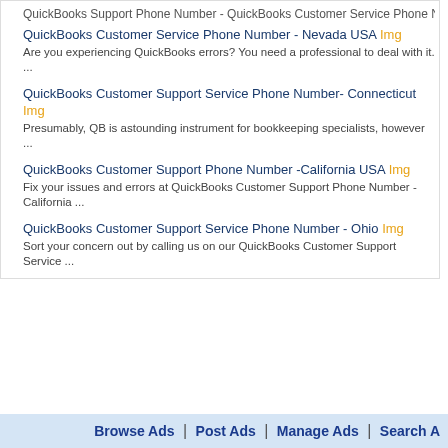QuickBooks Support Phone Number - QuickBooks Customer Service Phone Number ...
QuickBooks Customer Service Phone Number - Nevada USA Img
Are you experiencing QuickBooks errors? You need a professional to deal with it. ...
QuickBooks Customer Support Service Phone Number- Connecticut Img
Presumably, QB is astounding instrument for bookkeeping specialists, however ...
QuickBooks Customer Support Phone Number -California USA Img
Fix your issues and errors at QuickBooks Customer Support Phone Number -California ...
QuickBooks Customer Support Service Phone Number - Ohio Img
Sort your concern out by calling us on our QuickBooks Customer Support Service ...
INNetAds > Search Ad > by Owner > Quickbooks
© 2022 INNetAds.com
US Free Ads | USA Jobs | Canada Free Ads | UK Classifieds | Australia Free...
2022-08-28 (0.46...
Browse Ads | Post Ads | Manage Ads | Search A...